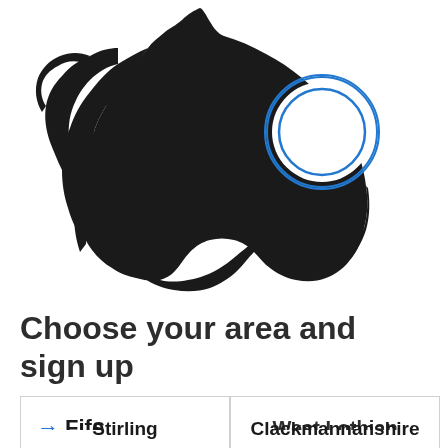[Figure (map): Silhouette map of Scotland in black with a blue concentric-circle pin/location marker on the east-central region (Fife area). The map shows the full outline of Scotland including islands.]
Choose your area and sign up
→ Fife
West Lothian
Stirling
Clackmannanshire